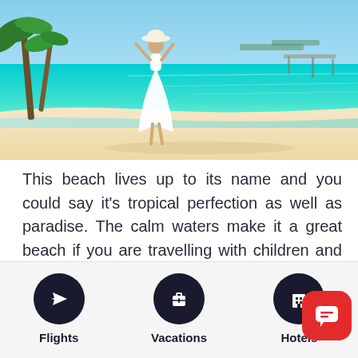[Figure (photo): Woman in white dress and hat standing on a tropical beach with clear turquoise water and palm trees]
This beach lives up to its name and you could say it's tropical perfection as well as paradise. The calm waters make it a great beach if you are travelling with children and there is a beach club with all the amenities you need for a day in the sun.
[Figure (infographic): App navigation bar with three icons: Flights (airplane icon), Vacations (briefcase icon), Hotels (hotel icon), plus a red chat bubble overlay]